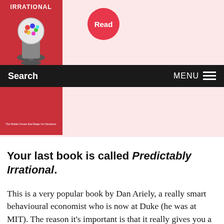[Figure (illustration): Book cover of Predictably Irrational with gumball machine graphic, and a red circular 'Read' button beside it, on a pink background]
Search   MENU
Your last book is called Predictably Irrational.
This is a very popular book by Dan Ariely, a really smart behavioural economist who is now at Duke (he was at MIT). The reason it's important is that it really gives you a sense of all the different ways in which behavioural economics is flowering. This is a field that is just 20 years old, which by academic standards is very new. Dan Ariely is a very a creative guy. He was able to take this basic idea, that humans are irrational, and mine it in a million different directions. For example, one of my